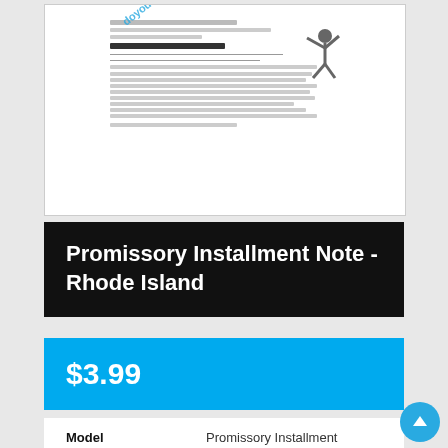[Figure (screenshot): Document preview of a Promissory Installment Note form with watermark text 'doyourselfllegalde' overlaid diagonally in blue]
Promissory Installment Note - Rhode Island
$3.99
| Field | Value |
| --- | --- |
| Model | Promissory Installment Note - Rhode Island |
| Availability: | In Stock |